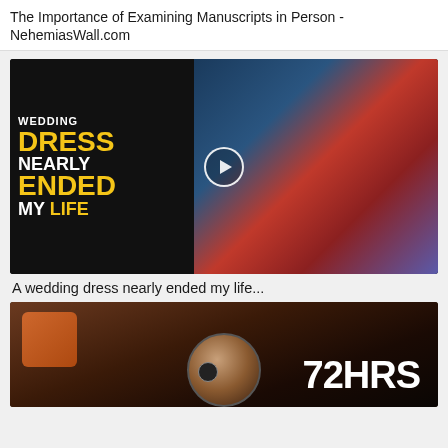The Importance of Examining Manuscripts in Person - NehemiasWall.com
[Figure (screenshot): Video thumbnail showing a woman in a wedding dress with overlay text: WEDDING DRESS NEARLY ENDED MY LIFE, with a play button in the center]
A wedding dress nearly ended my life...
[Figure (screenshot): Dark video thumbnail showing a person with text '72HRS' in white bold letters on the right side]